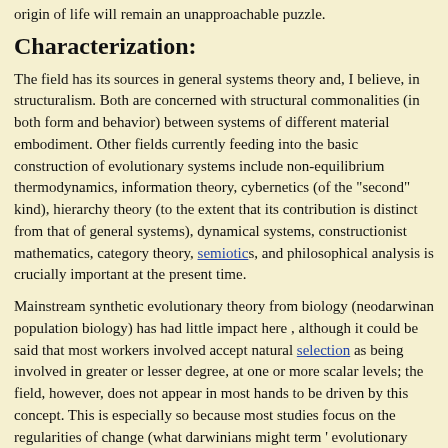origin of life will remain an unapproachable puzzle.
Characterization:
The field has its sources in general systems theory and, I believe, in structuralism. Both are concerned with structural commonalities (in both form and behavior) between systems of different material embodiment. Other fields currently feeding into the basic construction of evolutionary systems include non-equilibrium thermodynamics, information theory, cybernetics (of the "second" kind), hierarchy theory (to the extent that its contribution is distinct from that of general systems), dynamical systems, constructionist mathematics, category theory, semiotics, and philosophical analysis is crucially important at the present time.
Mainstream synthetic evolutionary theory from biology (neodarwinan population biology) has had little impact here , although it could be said that most workers involved accept natural selection as being involved in greater or lesser degree, at one or more scalar levels; the field, however, does not appear in most hands to be driven by this concept. This is especially so because most studies focus on the regularities of change (what darwinians might term ' evolutionary trends', which for them are extremely problematic and always require careful qualification so as to avoid "teleology").